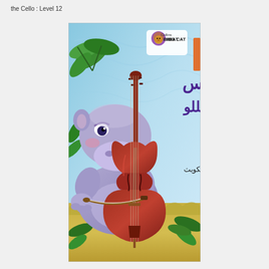the Cello : Level 12
[Figure (illustration): Book cover of Collins Big Cat Arabic reader showing a cartoon hippo playing a cello, with Arabic title 'Firas and the Cello' and author name 'Roz Asquith'. The cover has a sky blue background with tropical plants and yellow/golden ground.]